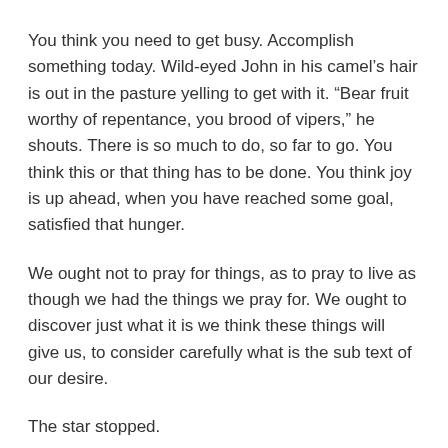You think you need to get busy. Accomplish something today. Wild-eyed John in his camel’s hair is out in the pasture yelling to get with it. “Bear fruit worthy of repentance, you brood of vipers,” he shouts. There is so much to do, so far to go. You think this or that thing has to be done. You think joy is up ahead, when you have reached some goal, satisfied that hunger.
We ought not to pray for things, as to pray to live as though we had the things we pray for. We ought to discover just what it is we think these things will give us, to consider carefully what is the sub text of our desire.
The star stopped.